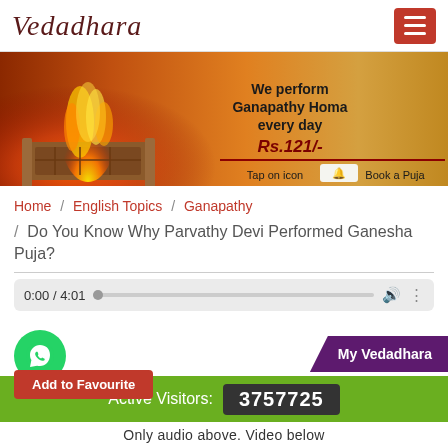Vedadhara
[Figure (photo): Banner advertisement for Vedadhara showing a fire homa ritual with text: We perform Ganapathy Homa every day Rs.121/- Tap on icon Book a Puja]
Home / English Topics / Ganapathy / Do You Know Why Parvathy Devi Performed Ganesha Puja?
Do You Know Why Parvathy Devi Performed Ganesha Puja?
[Figure (screenshot): Audio player showing 0:00 / 4:01 with playback bar]
My Vedadhara
Active Visitors: 3757725
Only audio above. Video below